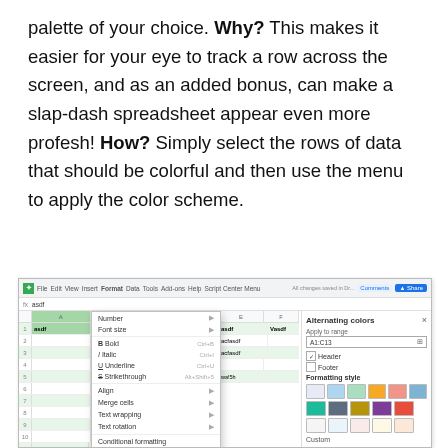palette of your choice. Why? This makes it easier for your eye to track a row across the screen, and as an added bonus, can make a slap-dash spreadsheet appear even more profesh! How? Simply select the rows of data that should be colorful and then use the menu to apply the color scheme.
[Figure (screenshot): Screenshot of Google Sheets showing the Format menu open with 'Alternating colors...' option highlighted, and the Alternating colors panel open on the right side showing color formatting options including Header/Footer toggles and color swatches.]